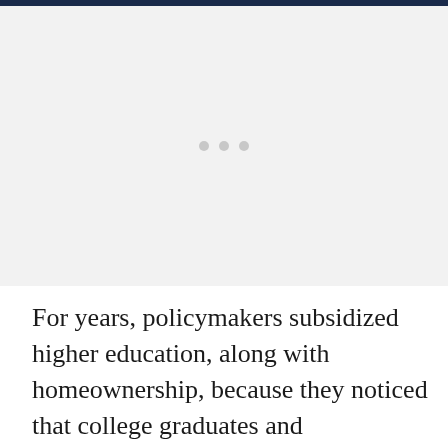[Figure (other): Large image placeholder area with three grey dots centered, indicating an image that could not be loaded or is pending.]
For years, policymakers subsidized higher education, along with homeownership, because they noticed that college graduates and homeowners earned more and had stronger community ties than others. The thinking was